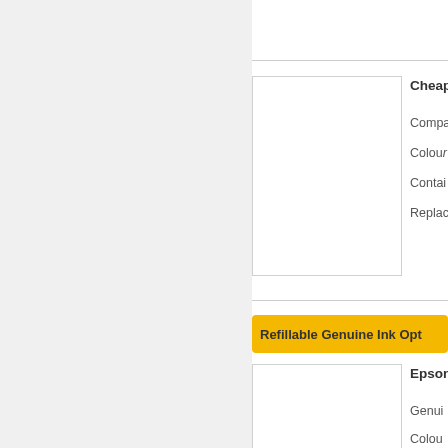[Figure (photo): Product image placeholder box (white rectangle with border) for cheap ink option]
Cheap
Compa
Colour
Contai
Replac
Refillable Genuine Ink Opt
[Figure (photo): Product image placeholder box (white rectangle with border) for Epson genuine ink option]
Epson
Genui
Colou